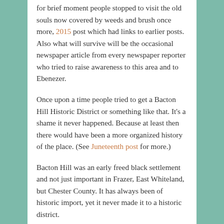for brief moment people stopped to visit the old souls now covered by weeds and brush once more, 2015 post which had links to earlier posts. Also what will survive will be the occasional newspaper article from every newspaper reporter who tried to raise awareness to this area and to Ebenezer.
Once upon a time people tried to get a Bacton Hill Historic District or something like that. It's a shame it never happened. Because at least then there would have been a more organized history of the place. (See Juneteenth post for more.)
Bacton Hill was an early freed black settlement and not just important in Frazer, East Whiteland, but Chester County. It has always been of historic import, yet it never made it to a historic district.
[Figure (photo): Two vintage photographs side by side showing old dilapidated structures with vines and bare trees, from Bacton Hill area]